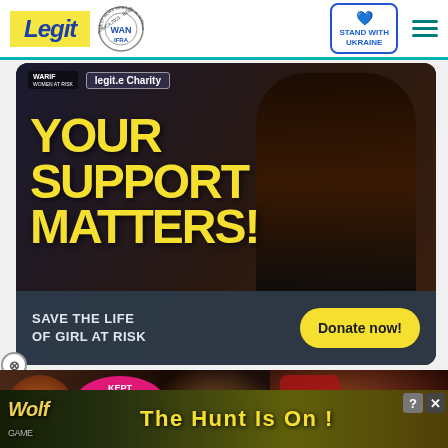[Figure (screenshot): Legit.ng website header with logo, WAN-IFRA 2021 Best News Website in Africa badge, Stand With Ukraine button, and hamburger menu]
[Figure (infographic): Legit Charity donation ad banner. Dark background with woman in distress. Bold yellow text: YOUR SUPPORT MATTERS! Gray bottom bar: SAVE THE LIFE OF GIRL AT RISK. Yellow Donate now! button.]
[Figure (screenshot): Video thumbnail showing celebrity couple with pink KEPT THE LOVE A SECRET badge and play button. Adjacent image of man in red cap.]
[Figure (infographic): Wolf Game advertisement banner at the bottom. THE HUNT IS ON! text with wolf imagery.]